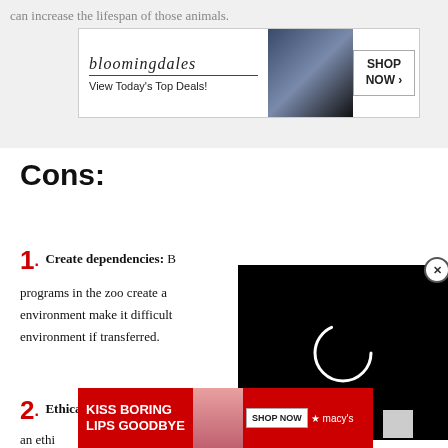can increase the lifespan of those animals.
[Figure (other): Bloomingdale's advertisement banner: logo, 'View Today's Top Deals!', image of woman in hat, 'SHOP NOW' button]
Cons:
1. Create dependencies: B[...] programs in the zoo create a[...] environment make it difficult [...] environment if transferred.
[Figure (other): Video loading overlay with spinning circle on black background, with close (X) button]
2. Ethical dilemma: Putting animals in[...] raise an ethi[...]unt on[...]
[Figure (other): Macy's advertisement: 'KISS BORING LIPS GOODBYE', woman photo, 'SHOP NOW' button, Macy's star logo, with 'CLOSE' button overlay]